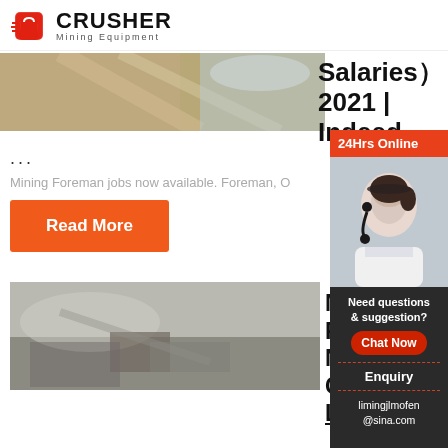[Figure (logo): Crusher Mining Equipment logo with shopping bag icon and bold CRUSHER text]
[Figure (photo): Mining/quarrying dust scene, top image strip]
Salaries）2021 | Indeed
...
Mining Foreman jobs now available. Foreman, O
Read More
[Figure (photo): Mining equipment and rock quarry scene, bottom image]
Mines Foreman Nagpur Cement Ltd.
[Figure (infographic): 24Hrs Online sidebar with customer service agent photo, Need questions & suggestion, Chat Now button, Enquiry, limingjlmofen@sina.com]